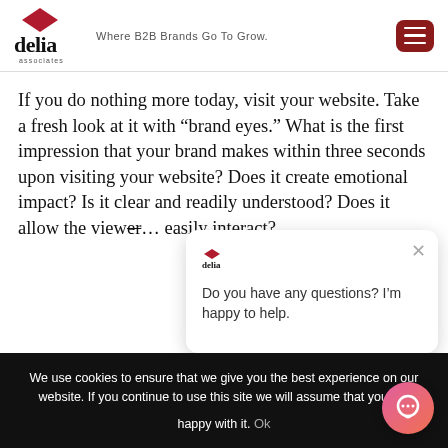delia associates — Where B2B Brands Go To Grow.
If you do nothing more today, visit your website. Take a fresh look at it with “brand eyes.” What is the first impression that your brand makes within three seconds upon visiting your website? Does it create emotional impact? Is it clear and readily understood? Does it allow the view… easily interact?
[Figure (screenshot): Chat popup with Delia Associates logo, close button (x), and text: Do you have any questions? I’m happy to help.]
We use cookies to ensure that we give you the best experience on our website. If you continue to use this site we will assume that you are happy with it.
Ok